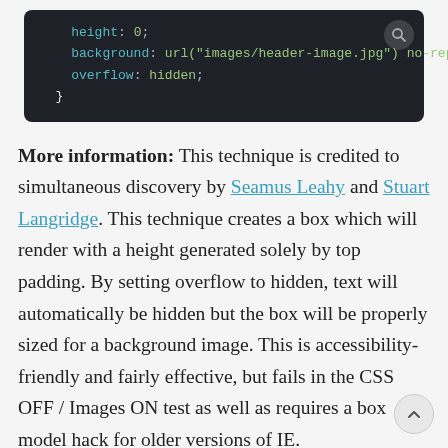[Figure (screenshot): Dark code block showing CSS snippet: height: 0; background: url("images/header-image.jpg") no-repeat; overflow: hidden; } with a search icon in the top right corner.]
More information: This technique is credited to simultaneous discovery by Seamus Leahy and Stuart Langridge. This technique creates a box which will render with a height generated solely by top padding. By setting overflow to hidden, text will automatically be hidden but the box will be properly sized for a background image. This is accessibility-friendly and fairly effective, but fails in the CSS OFF / Images ON test as well as requires a box model hack for older versions of IE.